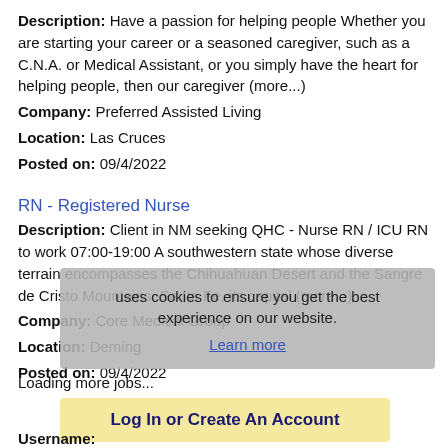Description: Have a passion for helping people Whether you are starting your career or a seasoned caregiver, such as a C.N.A. or Medical Assistant, or you simply have the heart for helping people, then our caregiver (more...)
Company: Preferred Assisted Living
Location: Las Cruces
Posted on: 09/4/2022
RN - Registered Nurse
Description: Client in NM seeking QHC - Nurse RN / ICU RN to work 07:00-19:00 A southwestern state whose diverse terrain encompasses the Chihuahuan Desert and the Sangre de Cristo Mountains. Santa Fe, its capital (more...)
Company: Core Medical Group
Location: Deming
Posted on: 09/4/2022
uses cookies to ensure you get the best experience on our website. Learn more
Loading more jobs...
Log In or Create An Account
Username: